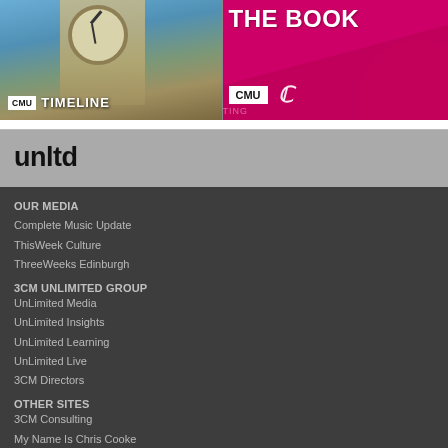[Figure (photo): Two promotional banners side by side: left shows Big Ben clock tower with 'CMU TIMELINE' overlay; right shows pink/magenta background with 'THE BOOK' text and CMU logo]
unltd
OUR MEDIA
Complete Music Update
ThisWeek Culture
ThreeWeeks Edinburgh
3CM UNLIMITED GROUP
UnLimited Media
UnLimited Insights
UnLimited Learning
UnLimited Live
3CM Directors
OTHER SITES
3CM Consulting
My Name Is Chris Cooke
All content © 3CM UnLimited
3CM UnLimited Privacy & Data Policy